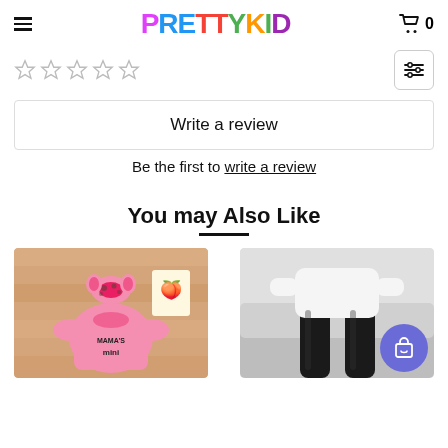PrettyKid — navigation header with logo, hamburger menu, and cart icon showing 0
[Figure (other): Five empty star rating icons]
[Figure (other): Filter/sliders icon button]
Write a review
Be the first to write a review
You may Also Like
[Figure (photo): Product photo: pink baby onesie with leopard print headband, text MAMA'S mini on onesie, on a wooden surface]
[Figure (photo): Product photo: child wearing white top and black faux leather leggings, sitting on a couch, with purple shopping bag button overlay]